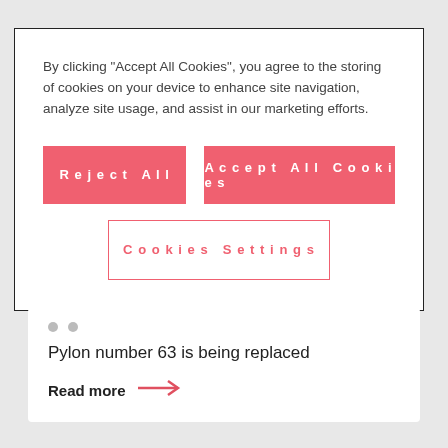By clicking “Accept All Cookies”, you agree to the storing of cookies on your device to enhance site navigation, analyze site usage, and assist in our marketing efforts.
Reject All
Accept All Cookies
Cookies Settings
Pylon number 63 is being replaced
Read more